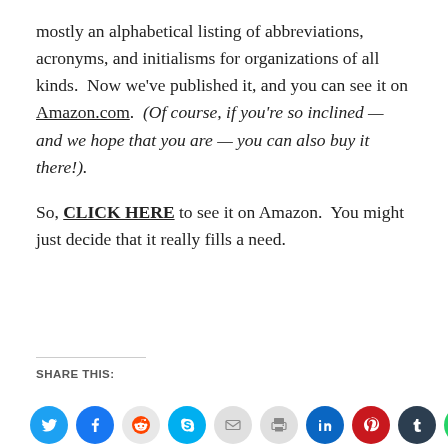mostly an alphabetical listing of abbreviations, acronyms, and initialisms for organizations of all kinds.  Now we've published it, and you can see it on Amazon.com.  (Of course, if you're so inclined — and we hope that you are — you can also buy it there!).
So, CLICK HERE to see it on Amazon.  You might just decide that it really fills a need.
SHARE THIS: